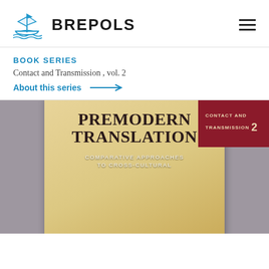[Figure (logo): Brepols publisher logo with sailing ship icon and BREPOLS text]
BOOK SERIES
Contact and Transmission , vol. 2
About this series →
[Figure (photo): Book cover of 'Premodern Translation: Comparative Approaches to Cross-Cultural' from Contact and Transmission series vol. 2, showing parchment texture background with dark red badge in upper right corner]